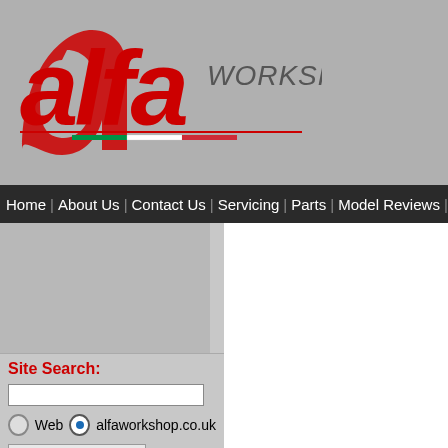[Figure (logo): Alfa Workshop logo — red stylized 'alfa' text with italic 'WORKSHOP' in grey, Italian flag stripe underneath]
Home | About Us | Contact Us | Servicing | Parts | Model Reviews | Buyers Gu
[Figure (other): Grey advertisement/placeholder block]
Site Search:
Web  alfaworkshop.co.uk  Google Search
Top 5 model searches:
Alfa Romeo 156
Alfa Romeo 147
Alfa Romeo Brera
Alfa Romeo 159
Alfa Romeo MiTo